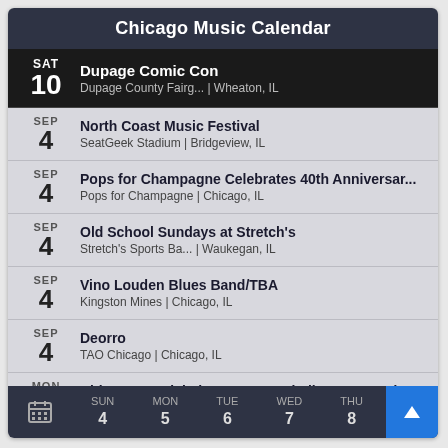Chicago Music Calendar
SAT 10 | Dupage Comic Con | Dupage County Fairg... | Wheaton, IL
SEP 4 | North Coast Music Festival | SeatGeek Stadium | Bridgeview, IL
SEP 4 | Pops for Champagne Celebrates 40th Anniversar... | Pops for Champagne | Chicago, IL
SEP 4 | Old School Sundays at Stretch's | Stretch's Sports Ba... | Waukegan, IL
SEP 4 | Vino Louden Blues Band/TBA | Kingston Mines | Chicago, IL
SEP 4 | Deorro | TAO Chicago | Chicago, IL
MON 5 | Chicago Handshake Passport Challenge: 16 Indep | EZ Inn + 15 other b... | Chicago, IL
SUN 4  MON 5  TUE 6  WED 7  THU 8  FRI 9